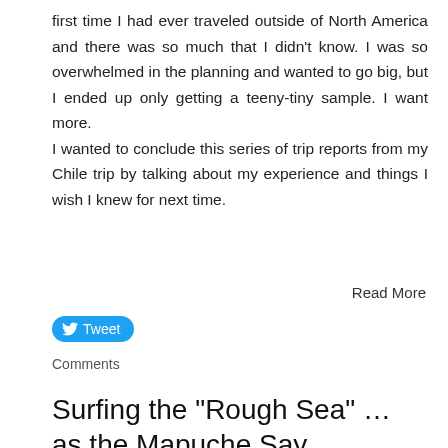first time I had ever traveled outside of North America and there was so much that I didn't know. I was so overwhelmed in the planning and wanted to go big, but I ended up only getting a teeny-tiny sample. I want more.
I wanted to conclude this series of trip reports from my Chile trip by talking about my experience and things I wish I knew for next time.
Read More
[Figure (other): Twitter Tweet button (blue pill-shaped button with Twitter bird icon and 'Tweet' text)]
Comments
Surfing the "Rough Sea" … as the Mapuche Say